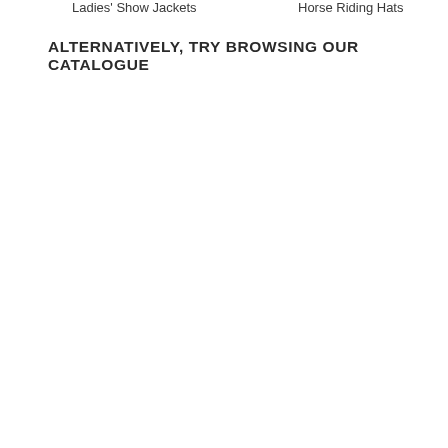ALTERNATIVELY, TRY BROWSING OUR CATALOGUE
Ladies' Show Jackets
Horse Riding Hats